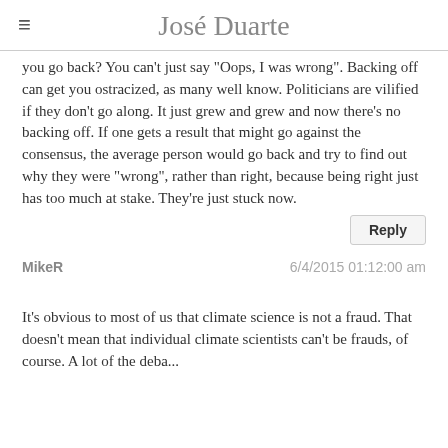José Duarte
you go back? You can't just say "Oops, I was wrong". Backing off can get you ostracized, as many well know. Politicians are vilified if they don't go along. It just grew and grew and now there's no backing off. If one gets a result that might go against the consensus, the average person would go back and try to find out why they were "wrong", rather than right, because being right just has too much at stake. They're just stuck now.
Reply
MikeR
6/4/2015 01:12:00 am
It's obvious to most of us that climate science is not a fraud. That doesn't mean that individual climate scientists can't be frauds, of course. A lot of the deba...